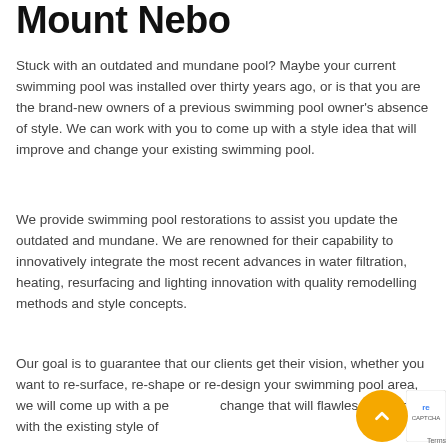Mount Nebo
Stuck with an outdated and mundane pool? Maybe your current swimming pool was installed over thirty years ago, or is that you are the brand-new owners of a previous swimming pool owner's absence of style. We can work with you to come up with a style idea that will improve and change your existing swimming pool.
We provide swimming pool restorations to assist you update the outdated and mundane. We are renowned for their capability to innovatively integrate the most recent advances in water filtration, heating, resurfacing and lighting innovation with quality remodelling methods and style concepts.
Our goal is to guarantee that our clients get their vision, whether you want to re-surface, re-shape or re-design your swimming pool area, we will come up with a pe... change that will flawlessly stream with the existing style of...